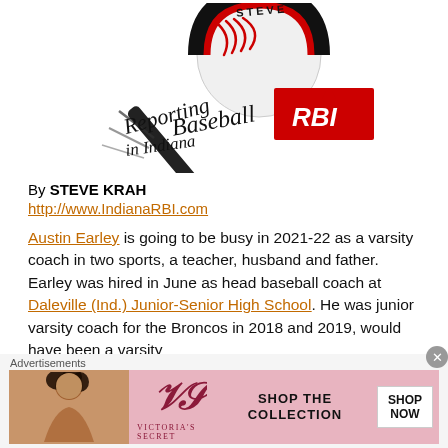[Figure (logo): Reporting Baseball in Indiana RBI logo with baseball and bat graphic, text 'STEVE' at top, script text 'Reporting Baseball in Indiana' with RBI acronym and Indiana state silhouette in red]
By STEVE KRAH
http://www.IndianaRBI.com
Austin Earley is going to be busy in 2021-22 as a varsity coach in two sports, a teacher, husband and father.
Earley was hired in June as head baseball coach at Daleville (Ind.) Junior-Senior High School. He was junior varsity coach for the Broncos in 2018 and 2019, would have been a varsity
Advertisements
[Figure (illustration): Victoria's Secret advertisement banner with pink background, woman photo on left, VS logo in center, 'SHOP THE COLLECTION' text and 'SHOP NOW' button on right]